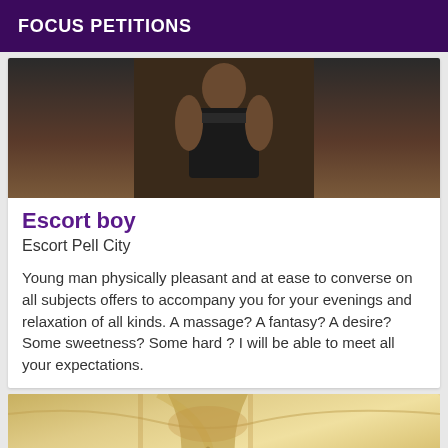FOCUS PETITIONS
[Figure (photo): Photo of a young man from the torso up, wearing dark clothing, muscular build, dark background]
Escort boy
Escort Pell City
Young man physically pleasant and at ease to converse on all subjects offers to accompany you for your evenings and relaxation of all kinds. A massage? A fantasy? A desire? Some sweetness? Some hard ? I will be able to meet all your expectations.
[Figure (photo): Close-up photo of a person wearing a light yellow/cream colored shirt, showing collar and upper chest area]